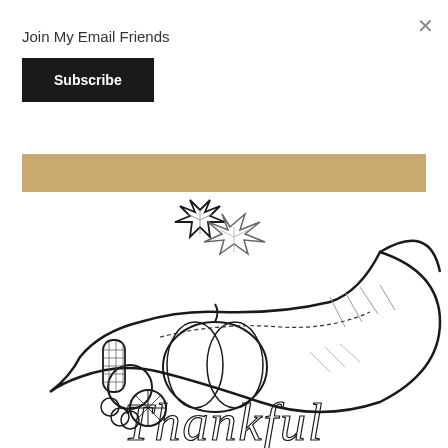Join My Email Friends
Subscribe
[Figure (illustration): Tan/gold horizontal banner strip]
[Figure (illustration): Line art cornucopia illustration with fruits, vegetables, leaves, and 'Thankful' script text below, in black and white coloring book style]